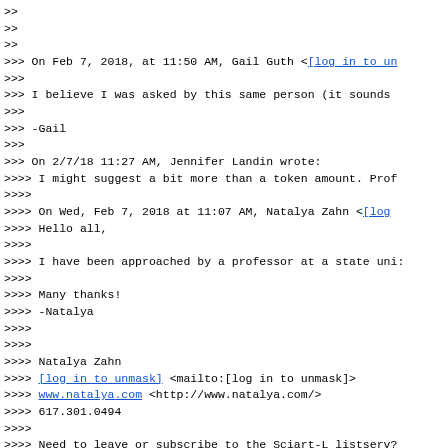>>
>>
>>
>>> On Feb 7, 2018, at 11:50 AM, Gail Guth <[log in to un
>>>
>>> I believe I was asked by this same person (it sounds
>>>
>>> -Gail
>>>
>>> On 2/7/18 11:27 AM, Jennifer Landin wrote:
>>>> I might suggest a bit more than a token amount. Pro
>>>>
>>>> On Wed, Feb 7, 2018 at 11:07 AM, Natalya Zahn <[log
>>>> Hello all,
>>>>
>>>> I have been approached by a professor at a state uni
>>>>
>>>> Many thanks!
>>>> -Natalya
>>>>
>>>>
>>>> Natalya Zahn
>>>> [log in to unmask] <mailto:[log in to unmask]>
>>>> www.natalya.com <http://www.natalya.com/>
>>>> 617.301.0494
>>>>
>>>> Need to leave or subscribe to the Sciart-L listserv
>>>> http://www.gnsi.org/resources/reviews/gnsi-sciart-l
>>>>
>>>>